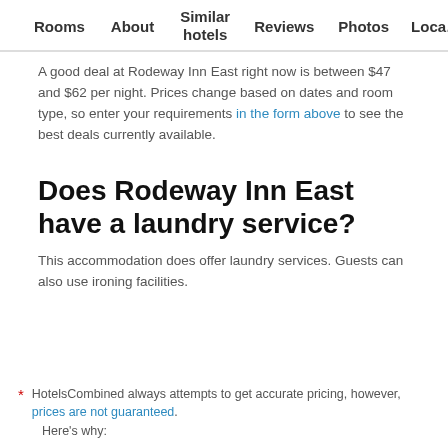Rooms | About | Similar hotels | Reviews | Photos | Loca…
A good deal at Rodeway Inn East right now is between $47 and $62 per night. Prices change based on dates and room type, so enter your requirements in the form above to see the best deals currently available.
Does Rodeway Inn East have a laundry service?
This accommodation does offer laundry services. Guests can also use ironing facilities.
* HotelsCombined always attempts to get accurate pricing, however, prices are not guaranteed.
Here's why: